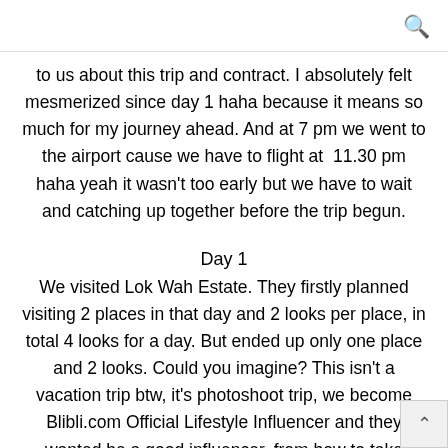🔍
to us about this trip and contract. I absolutely felt mesmerized since day 1 haha because it means so much for my journey ahead. And at 7 pm we went to the airport cause we have to flight at  11.30 pm haha yeah it wasn't too early but we have to wait and catching up together before the trip begun.
Day 1
We visited Lok Wah Estate. They firstly planned visiting 2 places in that day and 2 looks per place, in total 4 looks for a day. But ended up only one place and 2 looks. Could you imagine? This isn't a vacation trip btw, it's photoshoot trip, we become Blibli.com Official Lifestyle Influencer and they wanted be a good influencer, from how to take photos